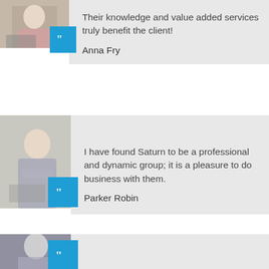[Figure (photo): Photo of a woman with red hair working at a laptop in an office setting, with a blue quote badge overlay]
Their knowledge and value added services truly benefit the client!
Anna Fry
[Figure (photo): Photo of a smiling businesswoman with arms crossed near a laptop, with a blue quote badge overlay]
I have found Saturn to be a professional and dynamic group; it is a pleasure to do business with them.
Parker Robin
[Figure (photo): Photo of a thoughtful man in a shirt with hand near chin, with a blue quote badge overlay]